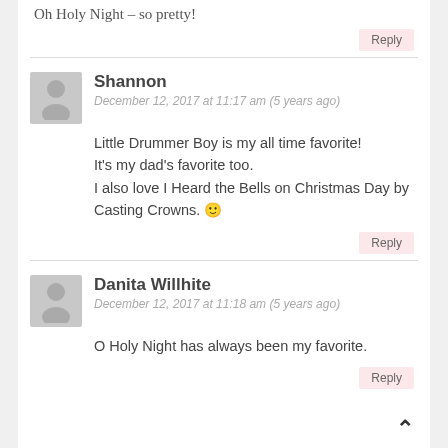Oh Holy Night – so pretty!
Reply
Shannon
December 12, 2017 at 11:17 am (5 years ago)
Little Drummer Boy is my all time favorite! It's my dad's favorite too. I also love I Heard the Bells on Christmas Day by Casting Crowns. 🙂
Reply
Danita Willhite
December 12, 2017 at 11:18 am (5 years ago)
O Holy Night has always been my favorite.
Reply